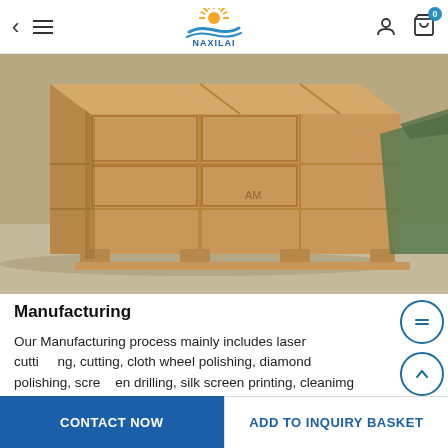NAXILAI navigation header with back button, menu, logo, user icon, and cart
[Figure (photo): Large wooden shipping crate/pallet box photographed from an angle, showing the corner and side panels of a plywood export crate sitting on wooden skids on a concrete floor. A green tarp is visible in the background on the right.]
Manufacturing
Our Manufacturing process mainly includes laser cutting, cutting, cloth wheel polishing, diamond polishing, screen drilling, silk screen printing, cleanimg and fabricating.
CONTACT NOW | ADD TO INQUIRY BASKET